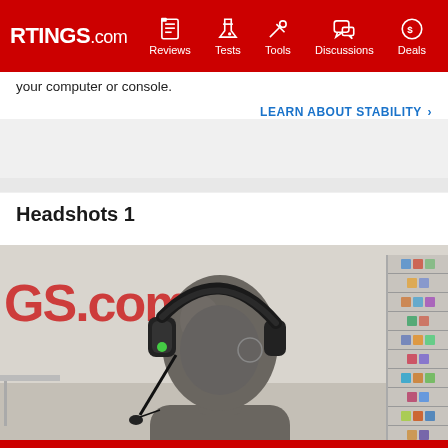RTINGS.com | Reviews | Tests | Tools | Discussions | Deals
your computer or console.
LEARN ABOUT STABILITY >
Headshots 1
[Figure (photo): A gray mannequin head/torso wearing a black gaming headset with boom microphone, photographed in a lab setting with a red 'GS.com' text visible in the background and shelving unit on the right side.]